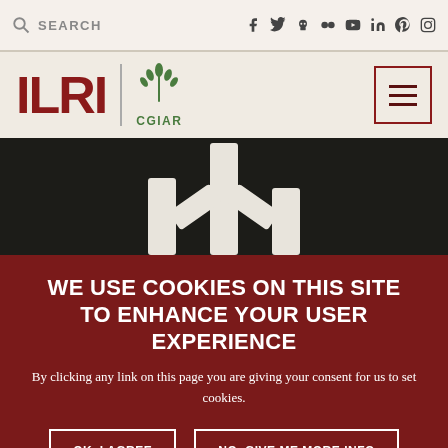SEARCH | social icons: f, Twitter, skull, flickr, YouTube, in, Pinterest, Instagram
[Figure (logo): ILRI CGIAR logo with vertical divider and wheat/plant emblem]
[Figure (illustration): Dark background hero image with off-white abstract architectural or antibody-like shapes]
WE USE COOKIES ON THIS SITE TO ENHANCE YOUR USER EXPERIENCE
By clicking any link on this page you are giving your consent for us to set cookies.
OK, I AGREE
NO, GIVE ME MORE INFO